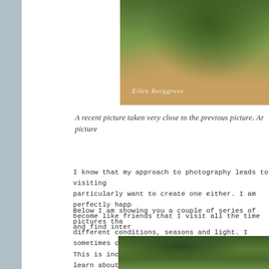[Figure (photo): Forest scene with large moss-covered tree trunk, green foliage, with Ellen Borggreve photography watermark]
A recent picture taken very close to the previous picture. Ar picture
I know that my approach to photography leads to visiting particularly want to create one either. I am perfectly happ become like friends that I visit all the time and find inter
Below I am showing you a couple of series of pictures tha different conditions, seasons and light. I sometimes cha This is incredibly useful to train your eye, to learn about possibilities of just one place.
[Figure (photo): Forest scene with large trees covered in ivy and green foliage]